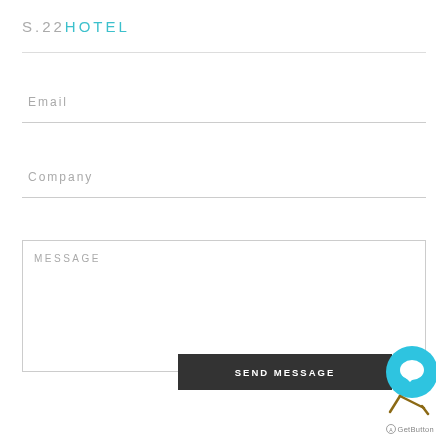S.22HOTEL
Email
Company
MESSAGE
SEND MESSAGE
[Figure (other): GetButton chat widget — circular cyan button with speech bubble icon and AGetButton logo below]
AGetButton